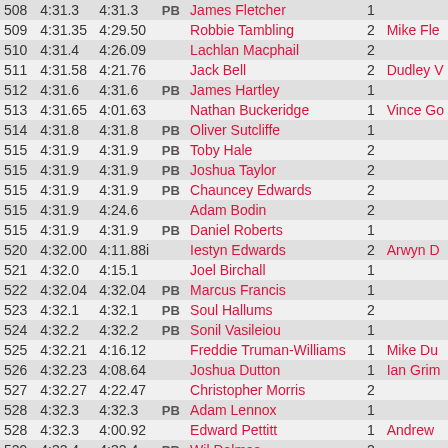| Rank | Time1 | Time2 | PB | Name | Num | Extra |
| --- | --- | --- | --- | --- | --- | --- |
| 508 | 4:31.3 | 4:31.3 | PB | James Fletcher | 1 |  |
| 509 | 4:31.35 | 4:29.50 |  | Robbie Tambling | 2 | Mike Fle |
| 510 | 4:31.4 | 4:26.09 |  | Lachlan Macphail | 2 |  |
| 511 | 4:31.58 | 4:21.76 |  | Jack Bell | 2 | Dudley V |
| 512 | 4:31.6 | 4:31.6 | PB | James Hartley | 1 |  |
| 513 | 4:31.65 | 4:01.63 |  | Nathan Buckeridge | 1 | Vince Go |
| 514 | 4:31.8 | 4:31.8 | PB | Oliver Sutcliffe | 1 |  |
| 515 | 4:31.9 | 4:31.9 | PB | Toby Hale | 2 |  |
| 515 | 4:31.9 | 4:31.9 | PB | Joshua Taylor | 2 |  |
| 515 | 4:31.9 | 4:31.9 | PB | Chauncey Edwards | 2 |  |
| 515 | 4:31.9 | 4:24.6 |  | Adam Bodin | 2 |  |
| 515 | 4:31.9 | 4:31.9 | PB | Daniel Roberts | 1 |  |
| 520 | 4:32.00 | 4:11.88i |  | Iestyn Edwards | 2 | Arwyn D |
| 521 | 4:32.0 | 4:15.1 |  | Joel Birchall | 1 |  |
| 522 | 4:32.04 | 4:32.04 | PB | Marcus Francis | 1 |  |
| 523 | 4:32.1 | 4:32.1 | PB | Soul Hallums | 2 |  |
| 524 | 4:32.2 | 4:32.2 | PB | Sonil Vasileiou | 1 |  |
| 525 | 4:32.21 | 4:16.12 |  | Freddie Truman-Williams | 1 | Mike Du |
| 526 | 4:32.23 | 4:08.64 |  | Joshua Dutton | 1 | Ian Grim |
| 527 | 4:32.27 | 4:22.47 |  | Christopher Morris | 2 |  |
| 528 | 4:32.3 | 4:32.3 | PB | Adam Lennox | 1 |  |
| 528 | 4:32.3 | 4:00.92 |  | Edward Pettitt | 1 | Andrew |
| 529 | 4:32.4 | 4:32.4 | PB | Will Dalmas | 2 |  |